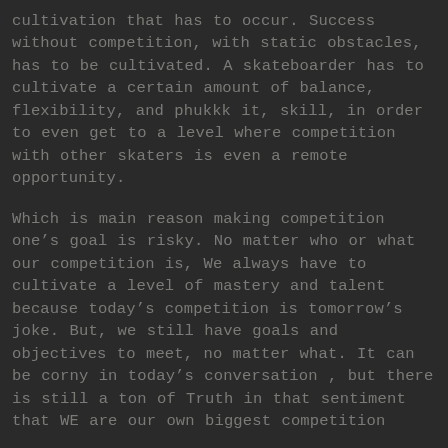cultivation that has to occur. Success without competition, with static obstacles, has to be cultivated. A skateboarder has to cultivate a certain amount of balance, flexibility, and phukkk it, skill, in order to even get to a level where competition with other skaters is even a remote opportunity.
Which is main reason making competition one's goal is risky. No matter who or what our competition is, We always have to cultivate a level of mastery and talent because today's competition is tomorrow's joke. But, we still have goals and objectives to meet, no matter what. It can be corny in today's conversation , but there is still a ton of Truth in that sentiment that WE are our own biggest competition